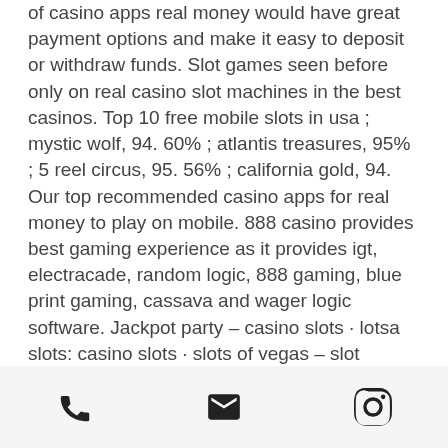of casino apps real money would have great payment options and make it easy to deposit or withdraw funds. Slot games seen before only on real casino slot machines in the best casinos. Top 10 free mobile slots in usa ; mystic wolf, 94. 60% ; atlantis treasures, 95% ; 5 reel circus, 95. 56% ; california gold, 94. Our top recommended casino apps for real money to play on mobile. 888 casino provides best gaming experience as it provides igt, electracade, random logic, 888 gaming, blue print gaming, cassava and wager logic software. Jackpot party – casino slots · lotsa slots: casino slots · slots of vegas – slot machine · tycoon casino™ – vegas slots. You can download and play free casino slot apps on this website. Of slot apps with real rewards like bonuses and free chips; all of the best slot apps. High count of
[phone icon] [email icon] [instagram icon]